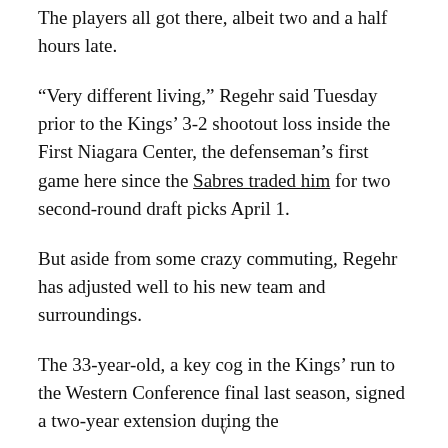The players all got there, albeit two and a half hours late.
“Very different living,” Regehr said Tuesday prior to the Kings’ 3-2 shootout loss inside the First Niagara Center, the defenseman’s first game here since the Sabres traded him for two second-round draft picks April 1.
But aside from some crazy commuting, Regehr has adjusted well to his new team and surroundings.
The 33-year-old, a key cog in the Kings’ run to the Western Conference final last season, signed a two-year extension during the
v